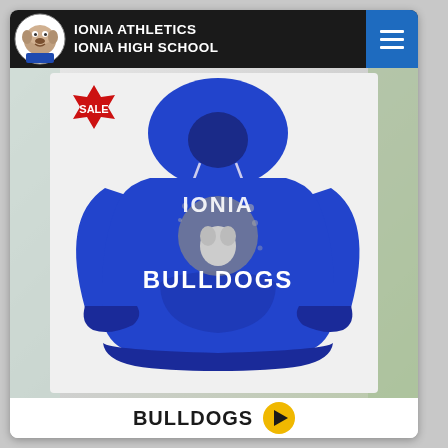IONIA ATHLETICS IONIA HIGH SCHOOL
[Figure (photo): Royal blue Ionia Bulldogs hoodie sweatshirt with 'IONIA BULLDOGS' graphic print featuring a bulldog mascot, displayed on a white/grey background. A red SALE badge is visible in the top-left corner of the product image area.]
BULLDOGS